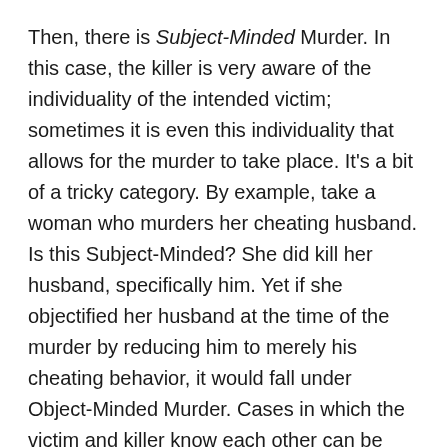Then, there is Subject-Minded Murder. In this case, the killer is very aware of the individuality of the intended victim; sometimes it is even this individuality that allows for the murder to take place. It's a bit of a tricky category. By example, take a woman who murders her cheating husband. Is this Subject-Minded? She did kill her husband, specifically him. Yet if she objectified her husband at the time of the murder by reducing him to merely his cheating behavior, it would fall under Object-Minded Murder. Cases in which the victim and killer know each other can be mistakenly read as Subject-Minded, while they are not.
To me, truly Subject-Minded Murder is the act of murdering an individual, while fully conscious of its individuality. It is killing with the intent to destroy a person,